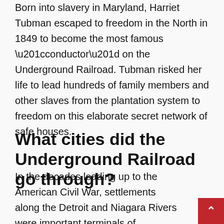Born into slavery in Maryland, Harriet Tubman escaped to freedom in the North in 1849 to become the most famous “conductor” on the Underground Railroad. Tubman risked her life to lead hundreds of family members and other slaves from the plantation system to freedom on this elaborate secret network of safe houses.
What cities did the Underground Railroad go through?
In the decades leading up to the American Civil War, settlements along the Detroit and Niagara Rivers were important terminals of the Underground Railroad. By 1861...